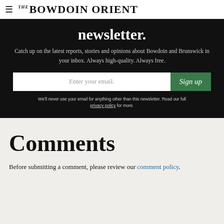THE BOWDOIN ORIENT
newsletter.
Catch up on the latest reports, stories and opinions about Bowdoin and Brunswick in your inbox. Always high-quality. Always free.
Enter your email. Sign up
We'll never use your email for anything other than this newsletter. Read our full privacy policy for more.
Comments
Before submitting a comment, please review our comment policy.